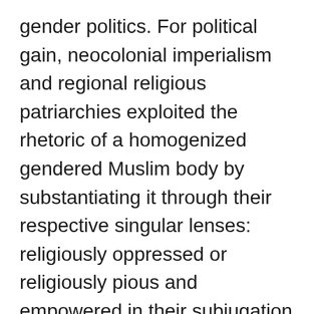gender politics. For political gain, neocolonial imperialism and regional religious patriarchies exploited the rhetoric of a homogenized gendered Muslim body by substantiating it through their respective singular lenses: religiously oppressed or religiously pious and empowered in their subjugation. This gendered binary politics strengthened and reinforced existing patriarchal structures and further demonized urban women who stood up for their right to exist in a mutually conducive urban society.